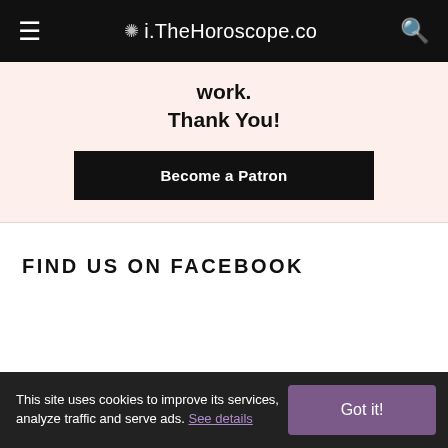i.TheHoroscope.co
work.
Thank You!
Become a Patron
FIND US ON FACEBOOK
This site uses cookies to improve its services, analyze traffic and serve ads. See details